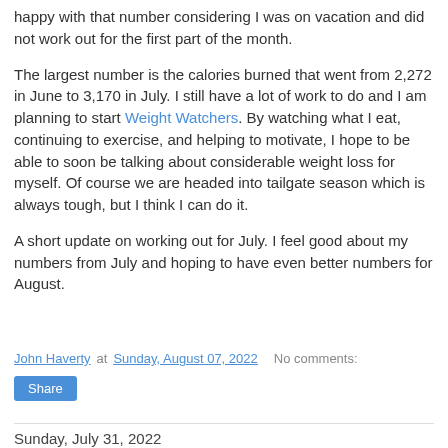happy with that number considering I was on vacation and did not work out for the first part of the month.
The largest number is the calories burned that went from 2,272 in June to 3,170 in July. I still have a lot of work to do and I am planning to start Weight Watchers. By watching what I eat, continuing to exercise, and helping to motivate, I hope to be able to soon be talking about considerable weight loss for myself. Of course we are headed into tailgate season which is always tough, but I think I can do it.
A short update on working out for July. I feel good about my numbers from July and hoping to have even better numbers for August.
John Haverty at Sunday, August 07, 2022    No comments:
Share
Sunday, July 31, 2022